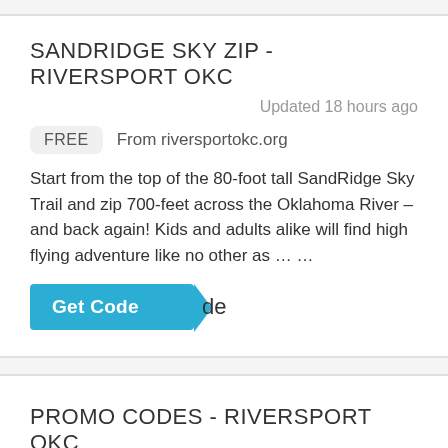SANDRIDGE SKY ZIP - RIVERSPORT OKC
Updated 18 hours ago
FREE  From riversportokc.org
Start from the top of the 80-foot tall SandRidge Sky Trail and zip 700-feet across the Oklahoma River – and back again! Kids and adults alike will find high flying adventure like no other as … …
PROMO CODES - RIVERSPORT OKC
Updated 18 hours ago